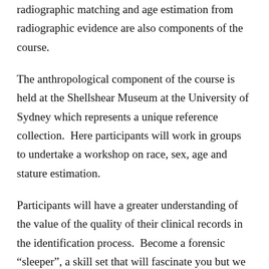radiographic matching and age estimation from radiographic evidence are also components of the course.
The anthropological component of the course is held at the Shellshear Museum at the University of Sydney which represents a unique reference collection.  Here participants will work in groups to undertake a workshop on race, sex, age and stature estimation.
Participants will have a greater understanding of the value of the quality of their clinical records in the identification process.  Become a forensic “sleeper”, a skill set that will fascinate you but we hope you will never need.